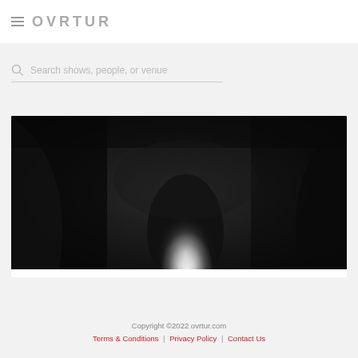OVRTUR
Search shows, people, or venue
[Figure (photo): Black and white close-up photograph of a person's neck/lower face area against a dark background, high contrast monochrome image]
Copyright ©2022 ovrtur.com | Terms & Conditions | Privacy Policy | Contact Us